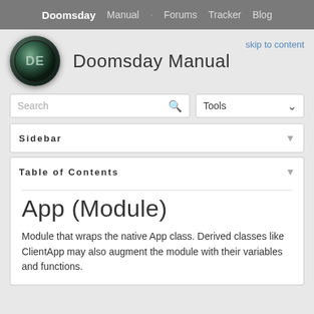Doomsday  Manual  ·  Forums  Tracker  Blog
Doomsday Manual
skip to content
Sidebar
Table of Contents
App (Module)
Module that wraps the native App class. Derived classes like ClientApp may also augment the module with their variables and functions.